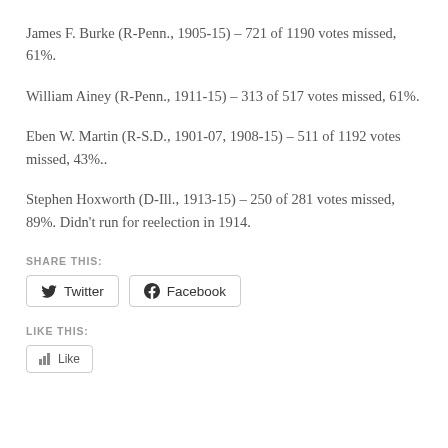James F. Burke (R-Penn., 1905-15) – 721 of 1190 votes missed, 61%.
William Ainey (R-Penn., 1911-15) – 313 of 517 votes missed, 61%.
Eben W. Martin (R-S.D., 1901-07, 1908-15) – 511 of 1192 votes missed, 43%..
Stephen Hoxworth (D-Ill., 1913-15) – 250 of 281 votes missed, 89%. Didn't run for reelection in 1914.
SHARE THIS:
LIKE THIS: